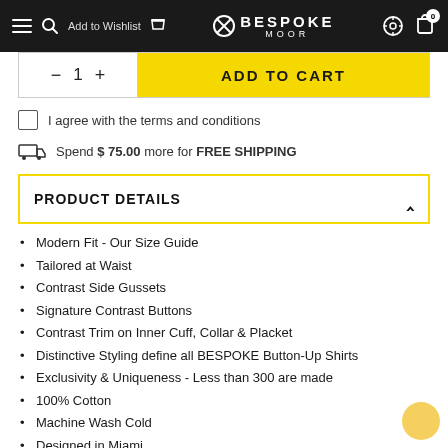BESPOKE MOOR — navigation bar with menu, wishlist, cart
— 1 + ADD TO CART
I agree with the terms and conditions
Spend $ 75.00 more for FREE SHIPPING
PRODUCT DETAILS
Modern Fit - Our Size Guide
Tailored at Waist
Contrast Side Gussets
Signature Contrast Buttons
Contrast Trim on Inner Cuff, Collar & Placket
Distinctive Styling define all BESPOKE Button-Up Shirts
Exclusivity & Uniqueness - Less than 300 are made
100% Cotton
Machine Wash Cold
Designed in Miami